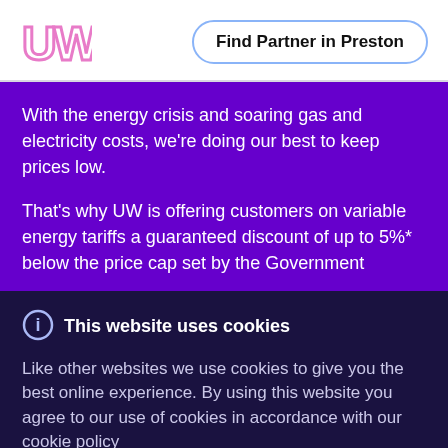[Figure (logo): UW logo in pink/magenta outline lettering]
Find Partner in Preston
With the energy crisis and soaring gas and electricity costs, we're doing our best to keep prices low.
That's why UW is offering customers on variable energy tariffs a guaranteed discount of up to 5%* below the price cap set by the Government
This website uses cookies
Like other websites we use cookies to give you the best online experience. By using this website you agree to our use of cookies in accordance with our cookie policy
Got it
Learn more